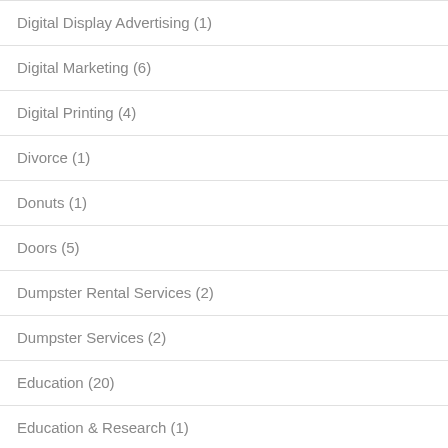Digital Display Advertising (1)
Digital Marketing (6)
Digital Printing (4)
Divorce (1)
Donuts (1)
Doors (5)
Dumpster Rental Services (2)
Dumpster Services (2)
Education (20)
Education & Research (1)